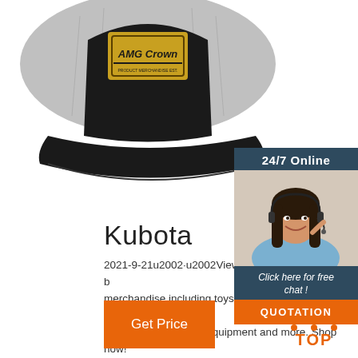[Figure (photo): Close-up photo of a black and gray trucker hat with a patch logo reading 'AMG Crown' on a white background]
[Figure (infographic): Chat widget with '24/7 Online' header, photo of a smiling woman with headset, text 'Click here for free chat!' and an orange 'QUOTATION' button]
Kubota
2021-9-21u2002·u2002View all the official Kubota branded merchandise including toys, apparel, workshop tools, accessories, outdoor equipment and more. Shop now!
Get Price
[Figure (infographic): Orange 'TOP' button with decorative dots arranged in a triangle above the text]